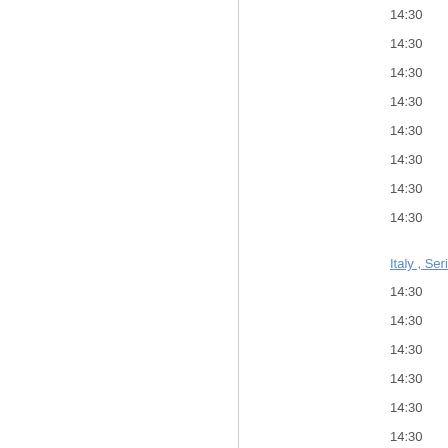14:30
14:30
14:30
14:30
14:30
14:30
14:30
14:30
Italy , Serie D
14:30
14:30
14:30
14:30
14:30
14:30
Italy , Serie D
14:30
14:30
14:30